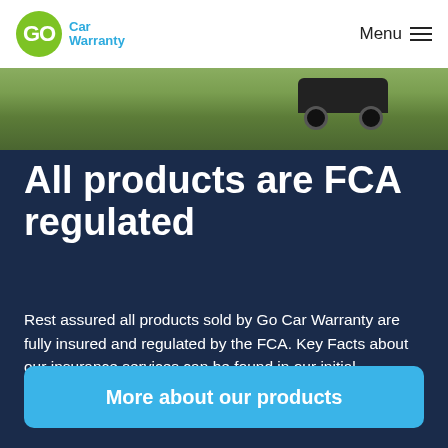[Figure (logo): Go Car Warranty logo — green circle with GO in white, blue text 'Car Warranty' to the right]
[Figure (photo): Partial view of a car in a grassy field, outdoor setting]
All products are FCA regulated
Rest assured all products sold by Go Car Warranty are fully insured and regulated by the FCA. Key Facts about our insurance services can be found in our initial disclosure document.
More about our products